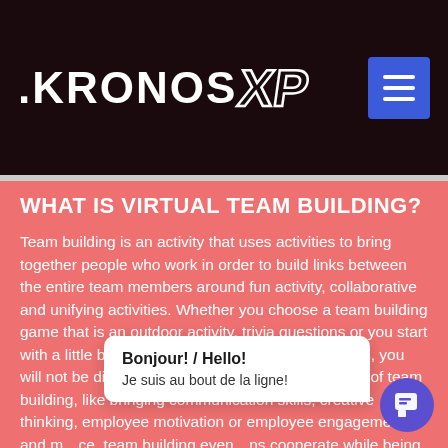[Figure (logo): KronosXP logo in white on dark background with hamburger menu button]
WHAT IS VIRTUAL TEAM BUILDING?
Team building is an activity that uses activities to bring together people who work in order to build links between the entire team members around fun activity, collaborative and unifying activities. Whether you choose a team building game that is an outdoor activity, trivia questions or you start with a little bit of both with our icebreaker questions, you will not be disappointed.  There is multiple benefits of team building, like bringing communication skills, creative thinking, employee motivation or employee engagement and m... ce, team building even... ns cooperate while being physically ACTIVE...and
Bonjour! / Hello!
Je suis au bout de la ligne!